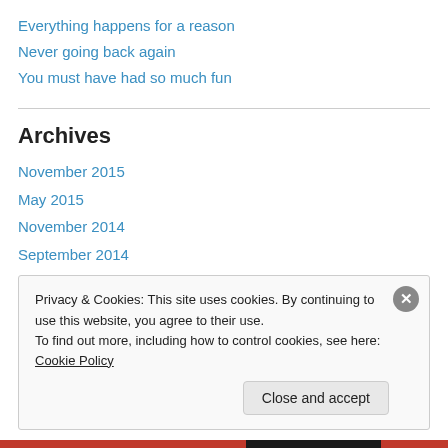Everything happens for a reason
Never going back again
You must have had so much fun
Archives
November 2015
May 2015
November 2014
September 2014
August 2014
July 2014
Privacy & Cookies: This site uses cookies. By continuing to use this website, you agree to their use. To find out more, including how to control cookies, see here: Cookie Policy
Close and accept